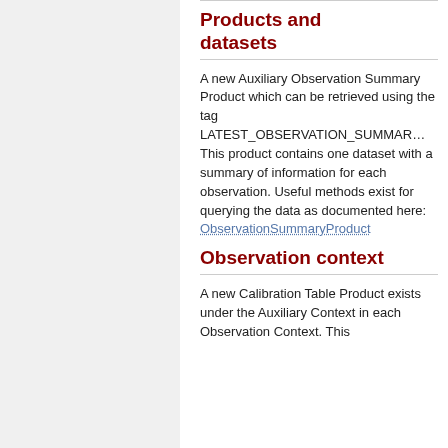Products and datasets
A new Auxiliary Observation Summary Product which can be retrieved using the tag LATEST_OBSERVATION_SUMMARY. This product contains one dataset with a summary of information for each observation. Useful methods exist for querying the data as documented here: ObservationSummaryProduct
Observation context
A new Calibration Table Product exists under the Auxiliary Context in each Observation Context. This